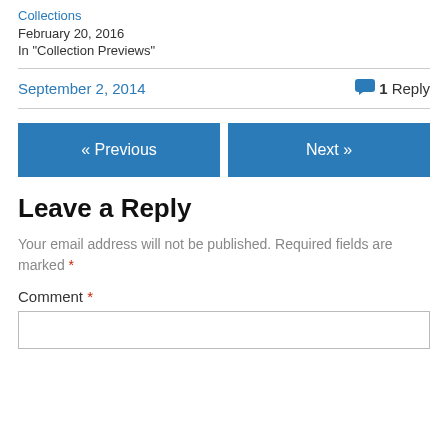Collections
February 20, 2016
In "Collection Previews"
September 2, 2014
1 Reply
« Previous
Next »
Leave a Reply
Your email address will not be published. Required fields are marked *
Comment *